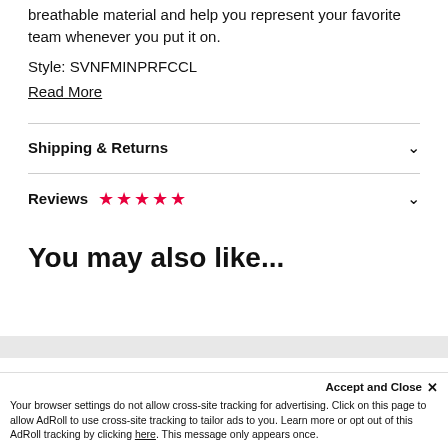breathable material and help you represent your favorite team whenever you put it on.
Style: SVNFMINPRFCCL
Read More
Shipping & Returns
Reviews ★★★★★
You may also like...
Accept and Close ✕
Your browser settings do not allow cross-site tracking for advertising. Click on this page to allow AdRoll to use cross-site tracking to tailor ads to you. Learn more or opt out of this AdRoll tracking by clicking here. This message only appears once.